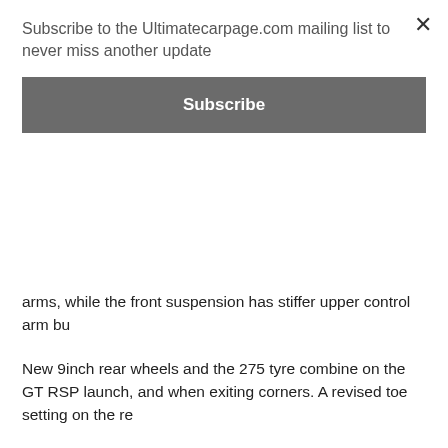Subscribe to the Ultimatecarpage.com mailing list to never miss another update
Subscribe
arms, while the front suspension has stiffer upper control arm bu
New 9inch rear wheels and the 275 tyre combine on the GT RSP launch, and when exiting corners. A revised toe setting on the re
Stiffer transmission mounts on the GT RSPEC reduce powertrai Launch Control provides drivers with a more consistent performa
"We have created a Launch Control feature on both the manual performance is optimised," Bernie Quinn explained. "The system drivers a smooth, consistent launch on typical road surfaces."
Visually the GT RSPEC is reminiscent of the famous 1969 Boss RSPEC except with a '335' identifier in the stripe, while there's a